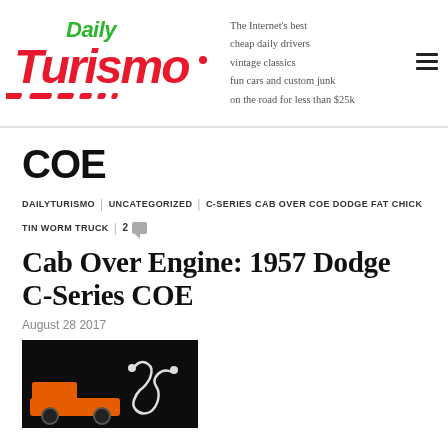[Figure (logo): Daily Turismo logo in red and green stylized text with road stripes]
The Internet's best cheap daily drivers vintage classics fun cars and custom junk on the road for less than $25k
COE
DAILYTURISMO | UNCATEGORIZED | C-SERIES CAB OVER COE DODGE FAT CHICK TIN WORM TRUCK | 2
Cab Over Engine: 1957 Dodge C-Series COE
August 28 2017
[Figure (photo): Photo of a 1957 Dodge C-Series COE truck, black background with orange trim and a ram logo]